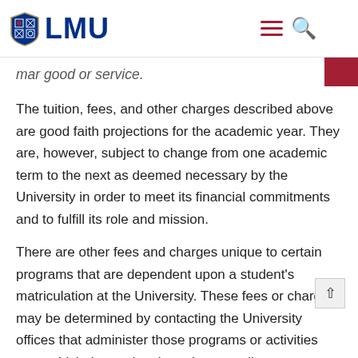LMU
mar good or service.
The tuition, fees, and other charges described above are good faith projections for the academic year. They are, however, subject to change from one academic term to the next as deemed necessary by the University in order to meet its financial commitments and to fulfill its role and mission.
There are other fees and charges unique to certain programs that are dependent upon a student's matriculation at the University. These fees or charges may be determined by contacting the University offices that administer those programs or activities in which the student intends to enroll or engage.